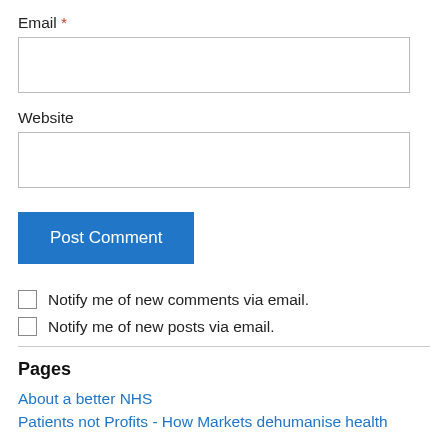Email *
[Figure (other): Empty text input field for Email]
Website
[Figure (other): Empty text input field for Website]
[Figure (other): Post Comment button (blue)]
Notify me of new comments via email.
Notify me of new posts via email.
Pages
About a better NHS
Patients not Profits - How Markets dehumanise health